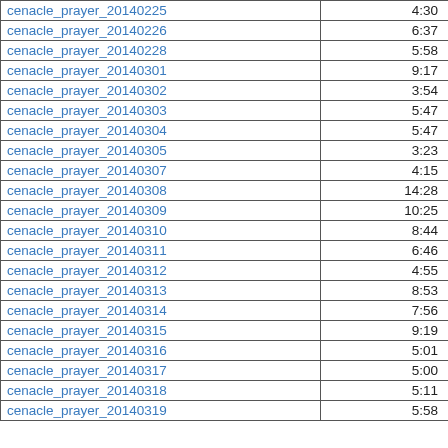| cenacle_prayer_20140225 | 4:30 |
| cenacle_prayer_20140226 | 6:37 |
| cenacle_prayer_20140228 | 5:58 |
| cenacle_prayer_20140301 | 9:17 |
| cenacle_prayer_20140302 | 3:54 |
| cenacle_prayer_20140303 | 5:47 |
| cenacle_prayer_20140304 | 5:47 |
| cenacle_prayer_20140305 | 3:23 |
| cenacle_prayer_20140307 | 4:15 |
| cenacle_prayer_20140308 | 14:28 |
| cenacle_prayer_20140309 | 10:25 |
| cenacle_prayer_20140310 | 8:44 |
| cenacle_prayer_20140311 | 6:46 |
| cenacle_prayer_20140312 | 4:55 |
| cenacle_prayer_20140313 | 8:53 |
| cenacle_prayer_20140314 | 7:56 |
| cenacle_prayer_20140315 | 9:19 |
| cenacle_prayer_20140316 | 5:01 |
| cenacle_prayer_20140317 | 5:00 |
| cenacle_prayer_20140318 | 5:11 |
| cenacle_prayer_20140319 | 5:58 |